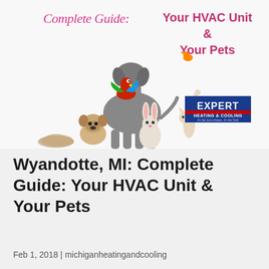[Figure (illustration): Cover image for an HVAC guide featuring pets: a large Great Dane dog with a red-and-green macaw parrot on its back, a small orange bird, a pug, a rabbit, a cat reaching up, and a snake, all on a white background. The text 'Complete Guide:' appears in pink cursive on the upper left, 'Your HVAC Unit & Your Pets' in bold pink on the upper right, and the Expert Heating & Cooling logo in the lower right corner.]
Wyandotte, MI: Complete Guide: Your HVAC Unit & Your Pets
Feb 1, 2018 | michiganheatingandcooling